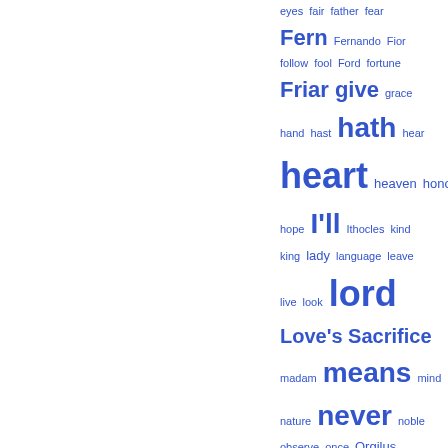[Figure (other): Word cloud / tag index from a literary text (Love's Sacrifice), showing words in varying sizes based on frequency, displayed in blue on white background. Words include: eyes, fair, father, fear, Fern, Fernando, Fior, follow, fool, Ford, fortune, Friar, give, grace, hand, hast, hath, hear, heart, heaven, honour, hope, I'll, Ithocles, kind, king, lady, language, leave, live, look, lord, Love's Sacrifice, madam, means, mind, nature, never, noble, observe, once, Orgilus, pass, passage, pity, play, poet, poor, pray, present, prince, Read, Rich, SCENE, sense, sister, soul, speak, speech]